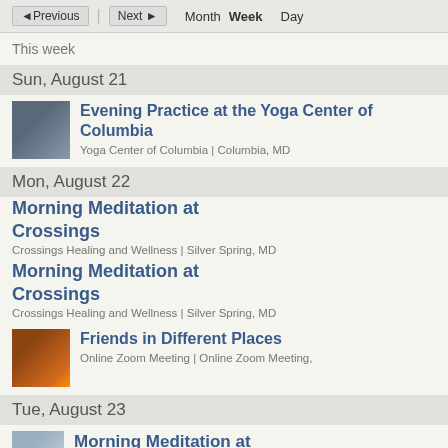◄Previous | Next► | Month Week Day
This week
Sun, August 21
Evening Practice at the Yoga Center of Columbia
Yoga Center of Columbia | Columbia, MD
Mon, August 22
Morning Meditation at Crossings
Crossings Healing and Wellness | Silver Spring, MD
Morning Meditation at Crossings
Crossings Healing and Wellness | Silver Spring, MD
Friends in Different Places
Online Zoom Meeting | Online Zoom Meeting,
Tue, August 23
Morning Meditation at